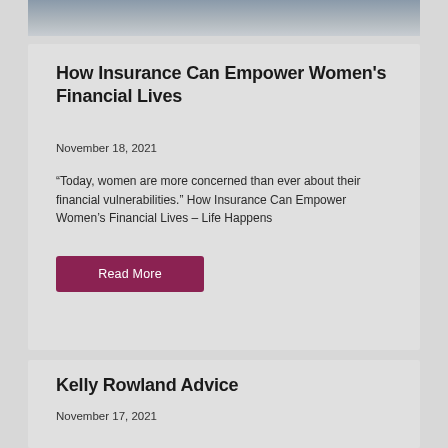[Figure (photo): Partial view of a photo showing people, cropped at the top of the page]
How Insurance Can Empower Women's Financial Lives
November 18, 2021
“Today, women are more concerned than ever about their financial vulnerabilities.” How Insurance Can Empower Women’s Financial Lives – Life Happens
Read More
Kelly Rowland Advice
November 17, 2021